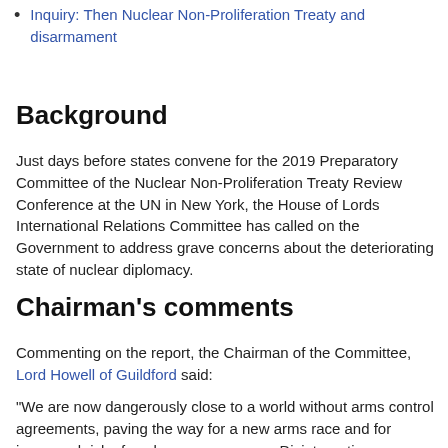Inquiry: Then Nuclear Non-Proliferation Treaty and disarmament
Background
Just days before states convene for the 2019 Preparatory Committee of the Nuclear Non-Proliferation Treaty Review Conference at the UN in New York, the House of Lords International Relations Committee has called on the Government to address grave concerns about the deteriorating state of nuclear diplomacy.
Chairman's comments
Commenting on the report, the Chairman of the Committee, Lord Howell of Guildford said:
"We are now dangerously close to a world without arms control agreements, paving the way for a new arms race and for increased risk of nuclear weapons use. Disintegrating relationships between